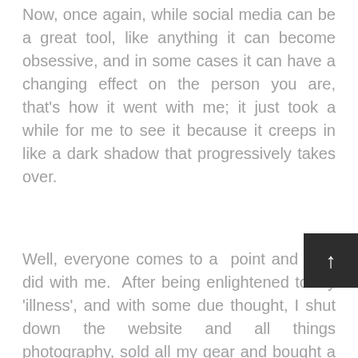Now, once again, while social media can be a great tool, like anything it can become obsessive, and in some cases it can have a changing effect on the person you are, that's how it went with me; it just took a while for me to see it because it creeps in like a dark shadow that progressively takes over.
Well, everyone comes to a point and so it did with me. After being enlightened to my 'illness', and with some due thought, I shut down the website and all things photography, sold all my gear and bought a Corvette. A bit drastic you think? You see the only way for me to turn over a new leaf, grow, reinvigorate, what ever you wish to call it, was for me to call quits and see what happens after a bit of